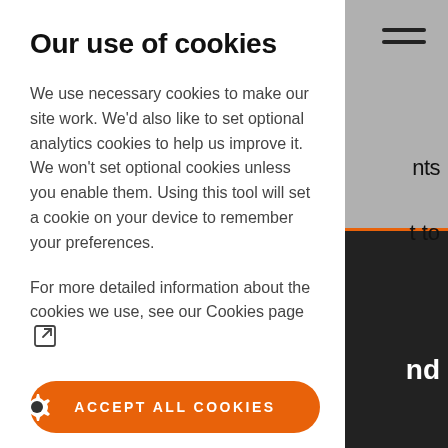Our use of cookies
We use necessary cookies to make our site work. We'd also like to set optional analytics cookies to help us improve it. We won't set optional cookies unless you enable them. Using this tool will set a cookie on your device to remember your preferences.
For more detailed information about the cookies we use, see our Cookies page
ACCEPT ALL COOKIES
REJECT ALL COOKIES